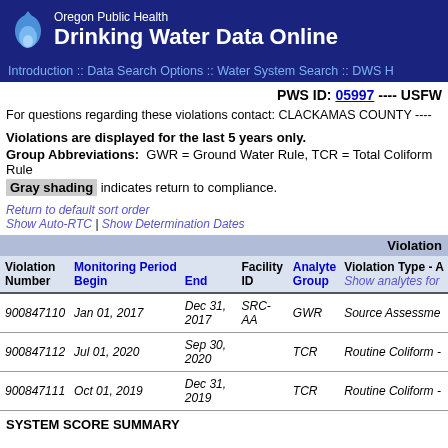Oregon Public Health Drinking Water Data Online
Introduction :: Data Search Options :: Water System Search :: DWS H
PWS ID: 05997 ---- USFW
For questions regarding these violations contact: CLACKAMAS COUNTY ----
Violations are displayed for the last 5 years only.
Group Abbreviations: GWR = Ground Water Rule, TCR = Total Coliform Rule
Gray shading indicates return to compliance.
Return to default sort order
Show Auto-RTC | Show Determination Dates
| Violation Number | Monitoring Period Begin | Monitoring Period End | Facility ID | Analyte Group | Violation Type - A |
| --- | --- | --- | --- | --- | --- |
| 900847110 | Jan 01, 2017 | Dec 31, 2017 | SRC-AA | GWR | Source Assessme |
| 900847112 | Jul 01, 2020 | Sep 30, 2020 |  | TCR | Routine Coliform - |
| 900847111 | Oct 01, 2019 | Dec 31, 2019 |  | TCR | Routine Coliform - |
SYSTEM SCORE SUMMARY